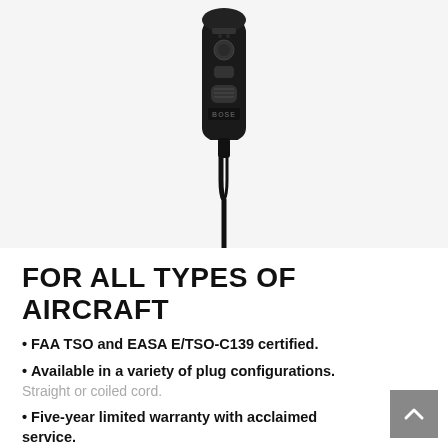[Figure (photo): A black Bose aviation headset control module/inline controller with cable hanging down, photographed on white background]
FOR ALL TYPES OF AIRCRAFT
• FAA TSO and EASA E/TSO-C139 certified.
• Available in a variety of plug configurations. Straight or coiled cord.
• Five-year limited warranty with acclaimed service. Worldwide coverage.